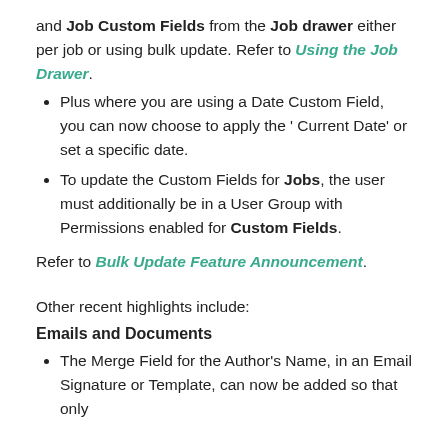and Job Custom Fields from the Job drawer either per job or using bulk update. Refer to Using the Job Drawer.
Plus where you are using a Date Custom Field, you can now choose to apply the ' Current Date' or set a specific date.
To update the Custom Fields for Jobs, the user must additionally be in a User Group with Permissions enabled for Custom Fields.
Refer to Bulk Update Feature Announcement.
Other recent highlights include:
Emails and Documents
The Merge Field for the Author's Name, in an Email Signature or Template, can now be added so that only